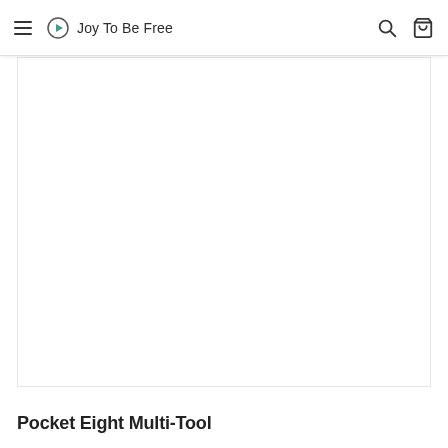Joy To Be Free
[Figure (photo): Product image area — white/blank product photo placeholder for Pocket Eight Multi-Tool]
Pocket Eight Multi-Tool